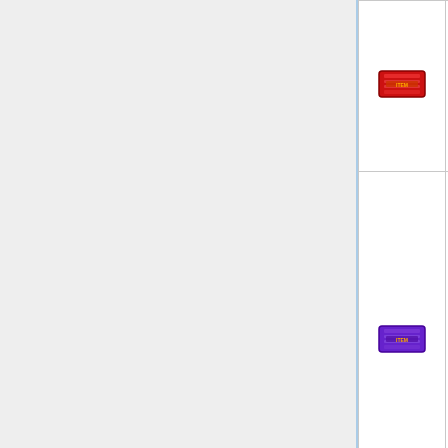| Icon | Name | Available | Details |
| --- | --- | --- | --- |
| [red icon] | Violent Seeds | Yes | Expe Natu |
| [purple icon] | Rejuvenate |  | Expe Natu |
|  |  |  |  |